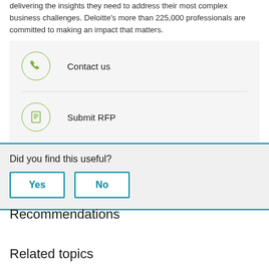delivering the insights they need to address their most complex business challenges. Deloitte's more than 225,000 professionals are committed to making an impact that matters.
[Figure (infographic): Contact us button with phone icon in a green circle]
[Figure (infographic): Submit RFP button with document icon in a green circle]
Did you find this useful?
Yes
No
Recommendations
Related topics